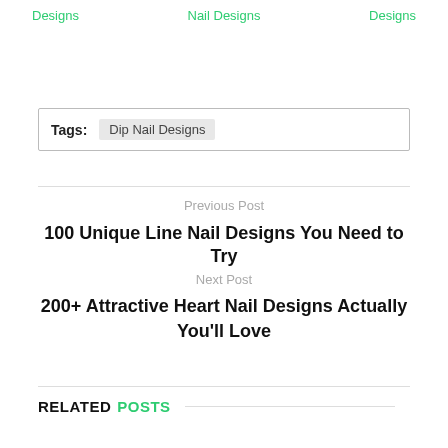Designs   Nail Designs   Designs
Tags: Dip Nail Designs
Previous Post
100 Unique Line Nail Designs You Need to Try
Next Post
200+ Attractive Heart Nail Designs Actually You'll Love
RELATED POSTS